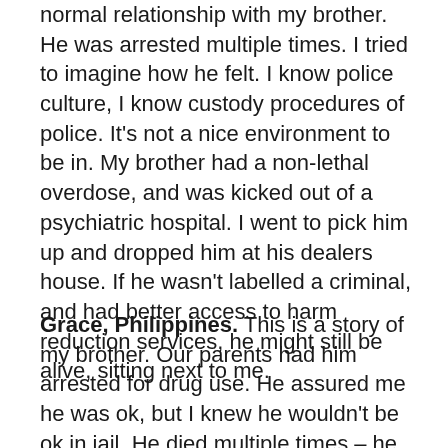normal relationship with my brother. He was arrested multiple times. I tried to imagine how he felt. I know police culture, I know custody procedures of police. It's not a nice environment to be in. My brother had a non-lethal overdose, and was kicked out of a psychiatric hospital. I went to pick him up and dropped him at his dealers house. If he wasn't labelled a criminal, and had better access to harm reduction services, he might still be alive, sitting next to me.
Grace, Philippines. This is a story of my brother. Our parents had him arrested for drug use. He assured me he was ok, but I knew he wouldn't be ok in jail. He died multiple times – he wants his dignity back. His dignity has died. I only wanted to see him